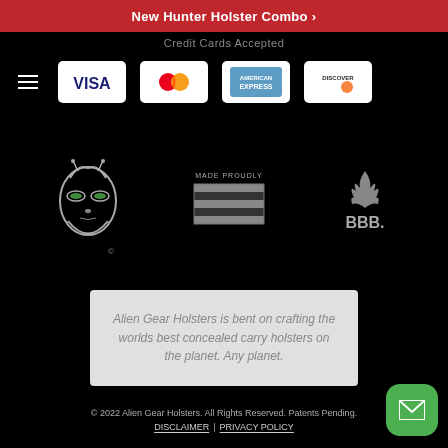New Hunter Holster Combo
Credit Cards Accepted
[Figure (logo): Payment method logos: VISA, Mastercard, American Express, Discover]
[Figure (logo): Alien Gear Holsters alien head logo with green eyes]
[Figure (logo): Made Proudly USA flag logo]
[Figure (logo): BBB Better Business Bureau logo]
Alien Gear Holsters is bent on crafting the worlds best concealed carry holsters on the planet. Any planet.
© 2022 Alien Gear Holsters. All Rights Reserved. Patents Pending. DISCLAIMER | PRIVACY POLICY